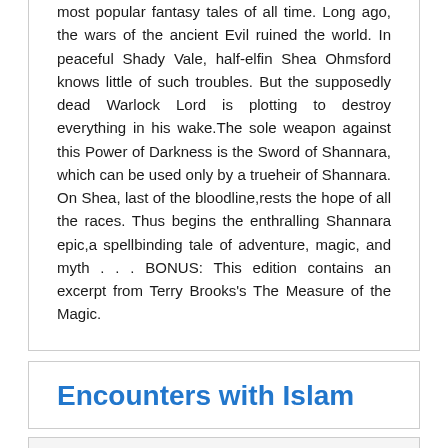most popular fantasy tales of all time. Long ago, the wars of the ancient Evil ruined the world. In peaceful Shady Vale, half-elfin Shea Ohmsford knows little of such troubles. But the supposedly dead Warlock Lord is plotting to destroy everything in his wake.The sole weapon against this Power of Darkness is the Sword of Shannara, which can be used only by a trueheir of Shannara. On Shea, last of the bloodline,rests the hope of all the races. Thus begins the enthralling Shannara epic,a spellbinding tale of adventure, magic, and myth . . . BONUS: This edition contains an excerpt from Terry Brooks's The Measure of the Magic.
Encounters with Islam